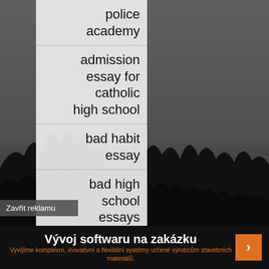[Figure (photo): Black and white landscape photo of forest silhouette with hazy sky background]
police academy
admission essay for catholic high school
bad habit essay
bad high school essays
bad
Zavřit reklamu
Vývoj softwaru na zakázku
Vyvíjíme komplexní, inovativní a flexibilní systémy určené výrobcům stavebních materiálů.